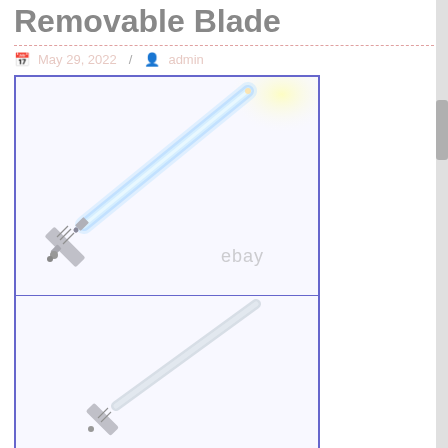Removable Blade
May 29, 2022 / admin
[Figure (photo): Two-panel image showing a lightsaber with a glowing blue blade (top panel, with eBay watermark) and a lightsaber with a plain/transparent blade (bottom panel), both displayed in white square frames with purple borders.]